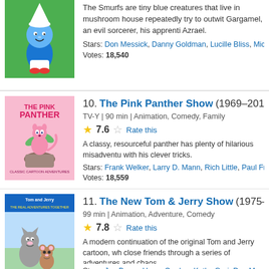[Figure (illustration): The Smurfs cartoon poster - blue Smurf character on green background]
The Smurfs are tiny blue creatures that live in mushroom houses and repeatedly try to outwit Gargamel, an evil sorcerer, his apprentice, and Azrael.
Stars: Don Messick, Danny Goldman, Lucille Bliss, Michael Bell
Votes: 18,540
[Figure (illustration): The Pink Panther Show poster - pink panther cartoon in a flower pot on pink background]
10. The Pink Panther Show (1969–2011)
TV-Y | 90 min | Animation, Comedy, Family
7.6 Rate this
A classy, resourceful panther has plenty of hilarious misadventures with his clever tricks.
Stars: Frank Welker, Larry D. Mann, Rich Little, Paul Frees
Votes: 18,559
[Figure (illustration): The New Tom & Jerry Show poster - Tom and Jerry cartoon characters]
11. The New Tom & Jerry Show (1975–1977)
99 min | Animation, Adventure, Comedy
7.8 Rate this
A modern continuation of the original Tom and Jerry cartoon, who become close friends through a series of adventures and chaos.
Stars: Joe Bronx, Henry Corden, Kathy Gori, Don Messick